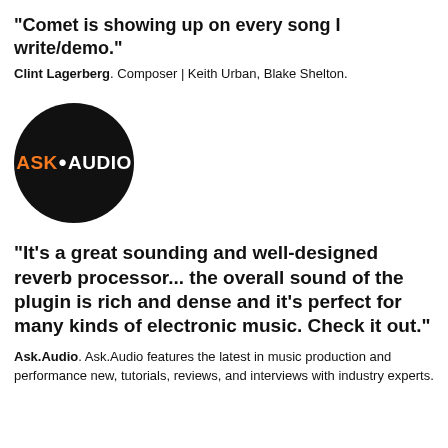"Comet is showing up on every song I write/demo."
Clint Lagerberg. Composer | Keith Urban, Blake Shelton.
[Figure (logo): Ask.Audio logo: black circle with orange ASK and white AUDIO text]
"It's a great sounding and well-designed reverb processor... the overall sound of the plugin is rich and dense and it's perfect for many kinds of electronic music. Check it out."
Ask.Audio. Ask.Audio features the latest in music production and performance new, tutorials, reviews, and interviews with industry experts.